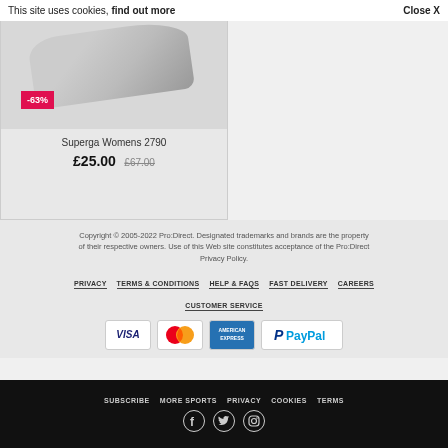This site uses cookies, find out more   Close X
Superga Womens 2790
-63%
£25.00  £67.00
Copyright © 2005-2022 Pro:Direct. Designated trademarks and brands are the property of their respective owners. Use of this Web site constitutes acceptance of the Pro:Direct Privacy Policy.
PRIVACY
TERMS & CONDITIONS
HELP & FAQS
FAST DELIVERY
CAREERS
CUSTOMER SERVICE
[Figure (logo): Payment method icons: VISA, Mastercard, American Express, PayPal]
SUBSCRIBE   MORE SPORTS   PRIVACY   COOKIES   TERMS
[Figure (illustration): Social media icons: Facebook, Twitter, Instagram]